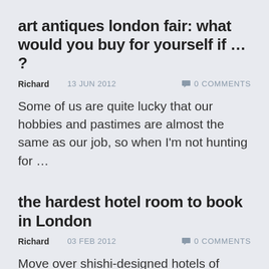art antiques london fair: what would you buy for yourself if … ?
Richard   13 JUN 2012   💬 0 COMMENTS
Some of us are quite lucky that our hobbies and pastimes are almost the same as our job, so when I'm not hunting for …
the hardest hotel room to book in London
Richard   03 FEB 2012   💬 0 COMMENTS
Move over shishi-designed hotels of London. The hotel to book in 2012 is